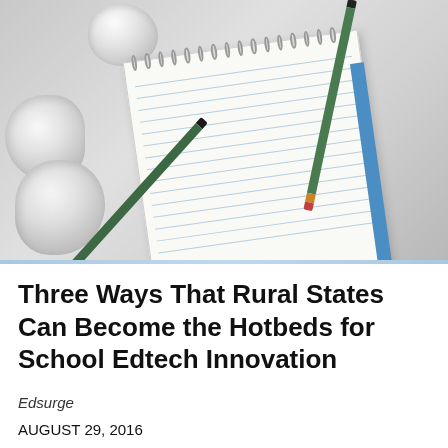[Figure (photo): Overhead view of a spiral notebook with horizontal lines, two green pencils placed diagonally across it, and three crumpled paper balls on a light gray surface]
Three Ways That Rural States Can Become the Hotbeds for School Edtech Innovation
Edsurge
AUGUST 29, 2016